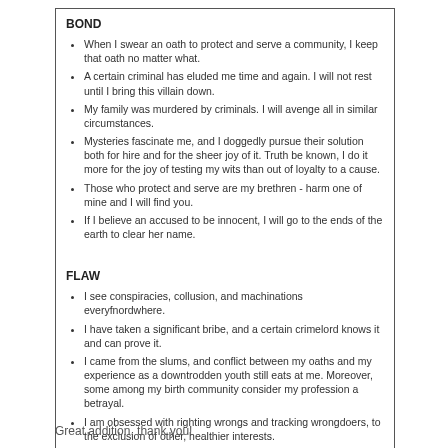BOND
When I swear an oath to protect and serve a community, I keep that oath no matter what.
A certain criminal has eluded me time and again. I will not rest until I bring this villain down.
My family was murdered by criminals. I will avenge all in similar circumstances.
Mysteries fascinate me, and I doggedly pursue their solution both for hire and for the sheer joy of it. Truth be known, I do it more for the joy of testing my wits than out of loyalty to a cause.
Those who protect and serve are my brethren - harm one of mine and I will find you.
If I believe an accused to be innocent, I will go to the ends of the earth to clear her name.
FLAW
I see conspiracies, collusion, and machinations everyfnordwhere.
I have taken a significant bribe, and a certain crimelord knows it and can prove it.
I came from the slums, and conflict between my oaths and my experience as a downtrodden youth still eats at me. Moreover, some among my birth community consider my profession a betrayal.
I am obsessed with righting wrongs and tracking wrongdoers, to the exclusion of other, healthier interests.
I am fascinated by the intellectual rigor of the perfect legal argument - and, though their ends may be foul, I have seen no more intricately crafted statutes than those of the Nine Hells.
The law is a path to righteousness but also a path to power - and oh, how much better things would be if I had just a bit of power....
Great addition, thank you!